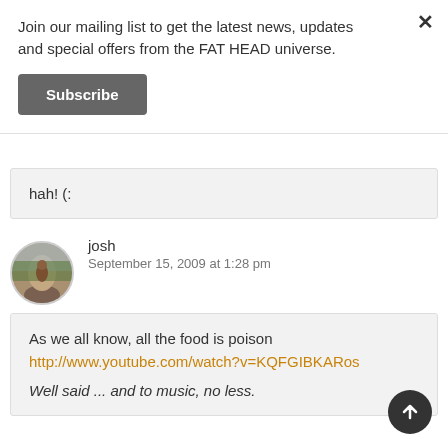Join our mailing list to get the latest news, updates and special offers from the FAT HEAD universe.
Subscribe
hah! (:
josh
September 15, 2009 at 1:28 pm
As we all know, all the food is poison
http://www.youtube.com/watch?v=KQFGIBKARos

Well said ... and to music, no less.